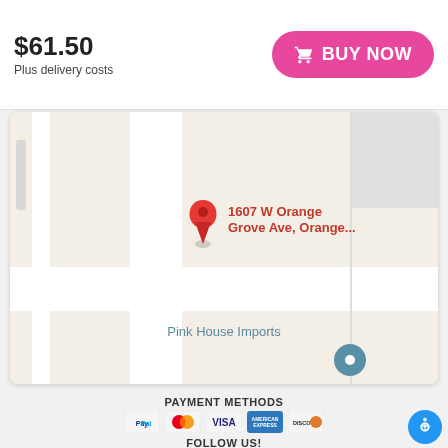$61.50
Plus delivery costs
[Figure (screenshot): BUY NOW button (pink/magenta rounded button with shopping cart icon)]
[Figure (map): Google Maps screenshot showing location at 1607 W Orange Grove Ave, Orange... with a red map pin. Shows 'Pink House Imports' label.]
PAYMENT METHODS
[Figure (infographic): Payment method logos: PayPal, Mastercard, Visa, American Express, Discover]
FOLLOW US!
[Figure (infographic): Social media icons: Facebook, YouTube, Instagram, Twitter, TikTok, Pinterest]
Copyright © 2022 ARTIST SHOT